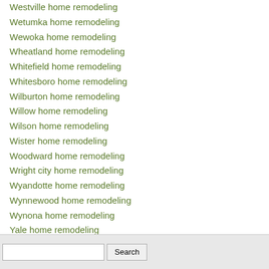Westville home remodeling
Wetumka home remodeling
Wewoka home remodeling
Wheatland home remodeling
Whitefield home remodeling
Whitesboro home remodeling
Wilburton home remodeling
Willow home remodeling
Wilson home remodeling
Wister home remodeling
Woodward home remodeling
Wright city home remodeling
Wyandotte home remodeling
Wynnewood home remodeling
Wynona home remodeling
Yale home remodeling
Yukon home remodeling
Search